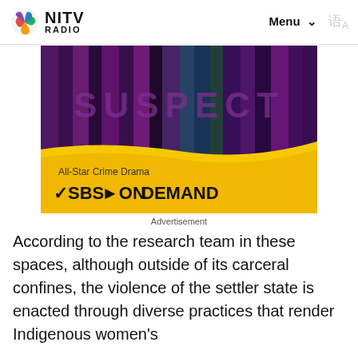NITV RADIO | Menu | language toggle
[Figure (illustration): SBS On Demand advertisement for 'Suspect' — an All-Star Crime Drama. Dark purple and pink vertical streaks background with large text SUSPECT. Bottom yellow wave section shows 'All-Star Crime Drama' and the SBS On Demand logo.]
Advertisement
According to the research team in these spaces, although outside of its carceral confines, the violence of the settler state is enacted through diverse practices that render Indigenous women's